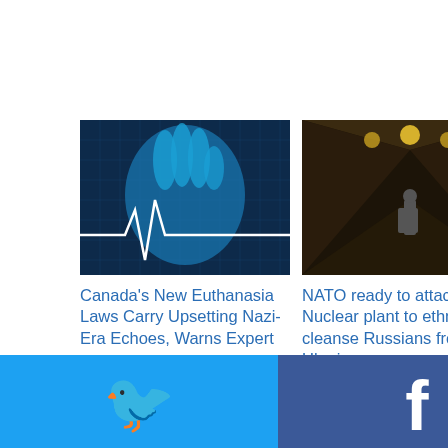targeted murders of Barry and Honey Sherman
[Figure (photo): Blue digital hand with heartbeat line - medical/euthanasia concept image]
[Figure (photo): Person standing in an industrial warehouse or nuclear plant interior]
[Figure (photo): Black and white photo of two people sitting]
Canada's New Euthanasia Laws Carry Upsetting Nazi-Era Echoes, Warns Expert
NATO ready to attack a Nuclear plant to ethnically cleanse Russians from Ukraine
Canada's Euthanasia Culture Previews What's To Come On America's Deadly Medicare Trajectory
[Figure (infographic): Social share buttons: Twitter (blue), Facebook (dark blue), Email (grey), WhatsApp (green), SMS (blue), Other/share (green)]
by shareaholic
s: